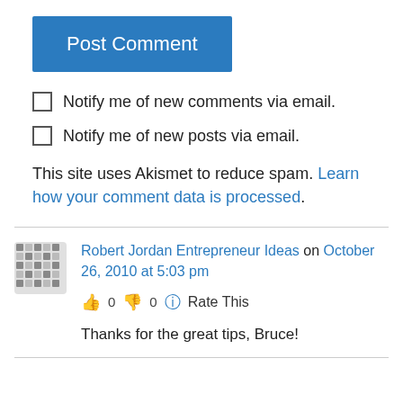Post Comment
Notify me of new comments via email.
Notify me of new posts via email.
This site uses Akismet to reduce spam. Learn how your comment data is processed.
Robert Jordan Entrepreneur Ideas on October 26, 2010 at 5:03 pm
👍 0 👎 0 🔵 Rate This
Thanks for the great tips, Bruce!